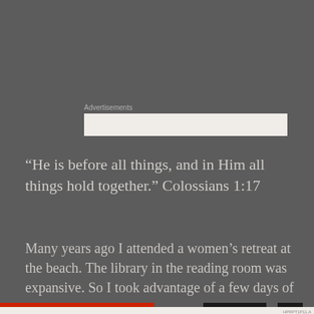Advertisements
“He is before all things, and in Him all things hold together.” Colossians 1:17
Many years ago I attended a women’s retreat at the beach. The library in the reading room was expansive. So I took advantage of a few days of
Privacy & Cookies: This site uses cookies. By continuing to use this website, you agree to their use.
To find out more, including how to control cookies, see here: Cookie Policy
Close and accept